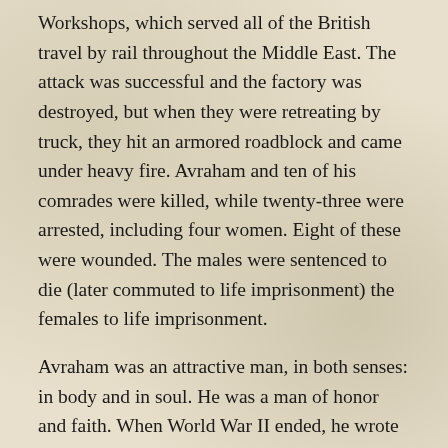Workshops, which served all of the British travel by rail throughout the Middle East. The attack was successful and the factory was destroyed, but when they were retreating by truck, they hit an armored roadblock and came under heavy fire. Avraham and ten of his comrades were killed, while twenty-three were arrested, including four women. Eight of these were wounded. The males were sentenced to die (later commuted to life imprisonment) the females to life imprisonment.
Avraham was an attractive man, in both senses: in body and in soul. He was a man of honor and faith. When World War II ended, he wrote to his friend, who believed their salvation was at hand, and told her: “We have waited in vain for the victory of a foreign nation. Indeed, the truth is clear: a victory which